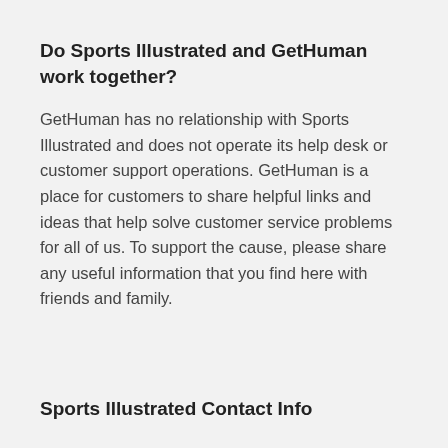Do Sports Illustrated and GetHuman work together?
GetHuman has no relationship with Sports Illustrated and does not operate its help desk or customer support operations. GetHuman is a place for customers to share helpful links and ideas that help solve customer service problems for all of us. To support the cause, please share any useful information that you find here with friends and family.
Sports Illustrated Contact Info